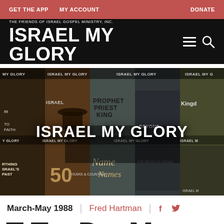GET THE APP  MY ACCOUNT  DONATE
THE FRIENDS OF ISRAEL GOSPEL MINISTRY, INC. ISRAEL MY GLORY
[Figure (photo): Magazine cover collage showing multiple issues of Israel My Glory magazine with text overlay reading ISRAEL MY GLORY]
March-May 1988 | Fred Hartman